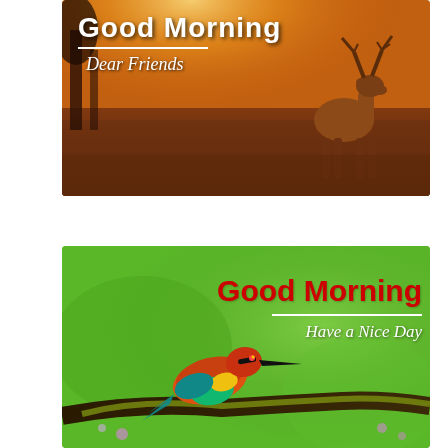[Figure (photo): Good morning greeting card with a deer standing in a golden sunrise landscape with frost-covered ground and warm orange sky. Text reads 'Good Morning' and 'Dear Friends'.]
[Figure (photo): Good morning greeting card with a colorful bee-eater bird perched on a mossy branch against a green blurred background. Text reads 'Good Morning' and 'Have a Nice Day'.]